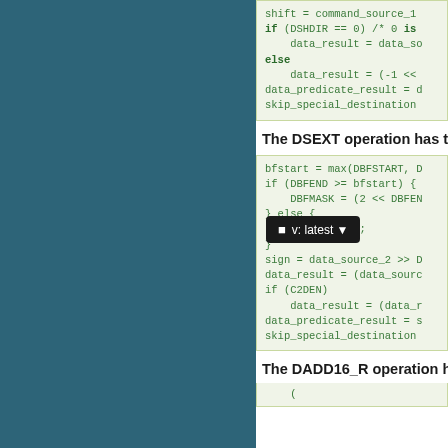[Figure (screenshot): Code block showing shift and data_result operations with DSHDIR check]
The DSEXT operation has th
[Figure (screenshot): Code block showing bfstart, DBFMASK, sign, data_result, C2DEN operations]
The DADD16_R operation h